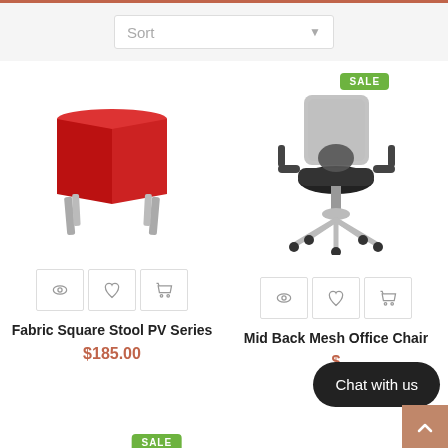Sort
[Figure (photo): Red fabric square stool with metallic legs]
[Figure (photo): Mid back mesh office chair with chrome base, SALE badge]
Fabric Square Stool PV Series
$185.00
Mid Back Mesh Office Chair
Chat with us